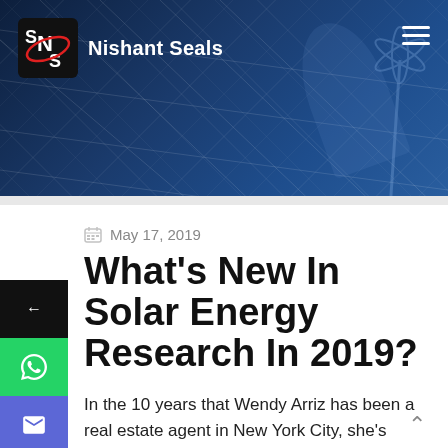[Figure (photo): Website header with dark blue solar panel / wind turbine background image showing the Nishant Seals logo and site name on the left and a hamburger menu icon on the right]
Nishant Seals
May 17, 2019
What's New In Solar Energy Research In 2019?
In the 10 years that Wendy Arriz has been a real estate agent in New York City, she's seen some of the best, selling ultraluxe new-construction homes, as well as lower-priced properties. But she's also seen some of the not-so-best work out there.